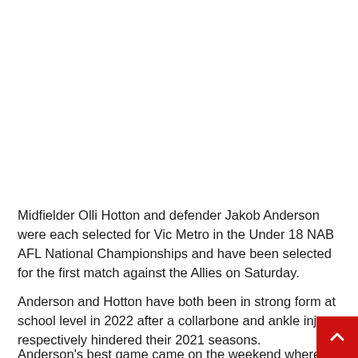Midfielder Olli Hotton and defender Jakob Anderson were each selected for Vic Metro in the Under 18 NAB AFL National Championships and have been selected for the first match against the Allies on Saturday.
Anderson and Hotton have both been in strong form at school level in 2022 after a collarbone and ankle injury respectively hindered their 2021 seasons.
Anderson's best game came on the weekend where he pla...